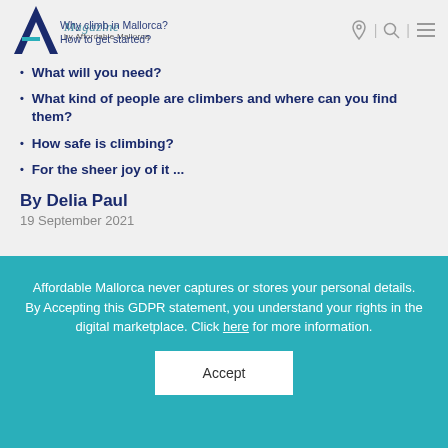Why climb in Mallorca? | How to get started? | Magazine by Affordable Mallorca
Why climb in Mallorca?
How to get started?
What will you need?
What kind of people are climbers and where can you find them?
How safe is climbing?
For the sheer joy of it ...
By Delia Paul
19 September 2021
Affordable Mallorca never captures or stores your personal details. By Accepting this GDPR statement, you understand your rights in the digital marketplace. Click here for more information.